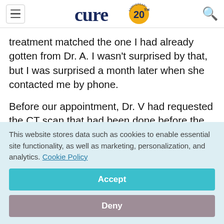cure 20th anniversary logo
treatment matched the one I had already gotten from Dr. A. I wasn't surprised by that, but I was surprised a month later when she contacted me by phone.
Before our appointment, Dr. V had requested the CT scan that had been done before the colon surgery, along with the pathology slides from that operation.
This website stores data such as cookies to enable essential site functionality, as well as marketing, personalization, and analytics. Cookie Policy
Accept
Deny